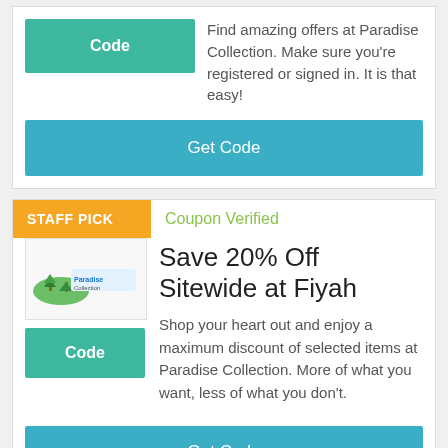[Figure (screenshot): Green 'Code' button]
Find amazing offers at Paradise Collection. Make sure you're registered or signed in. It is that easy!
Get Code
STAFF PICK
Coupon Verified
[Figure (logo): Paradise Collection / Fiyah store logo with tree and text]
Code
Save 20% Off Sitewide at Fiyah
Shop your heart out and enjoy a maximum discount of selected items at Paradise Collection. More of what you want, less of what you don't.
Get Code